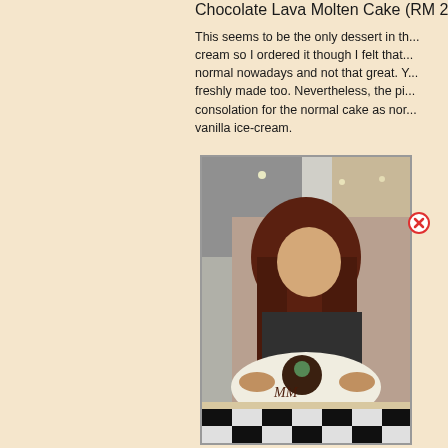Chocolate Lava Molten Cake (RM 27/...
This seems to be the only dessert in th... cream so I ordered it though I felt that... normal nowadays and not that great. Y... freshly made too. Nevertheless, the pi... consolation for the normal cake as nor... vanilla ice-cream.
[Figure (photo): A young woman with long reddish-brown hair sitting at a restaurant table, holding a white plate with a chocolate lava molten cake dessert decorated with chocolate sauce writing. Restaurant interior visible in background.]